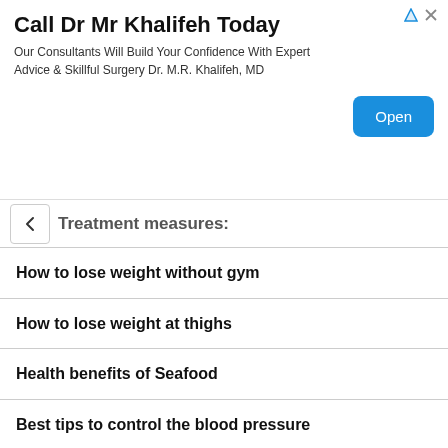[Figure (screenshot): Advertisement banner for Dr Mr Khalifeh with title 'Call Dr Mr Khalifeh Today', body text 'Our Consultants Will Build Your Confidence With Expert Advice & Skillful Surgery Dr. M.R. Khalifeh, MD', and an 'Open' button]
Treatment measures:
How to lose weight without gym
How to lose weight at thighs
Health benefits of Seafood
Best tips to control the blood pressure
How bengal gram / Chick peas is useful for health
What is body image? How is it important to women and their kids?
Best health benefits of curd / yogurt